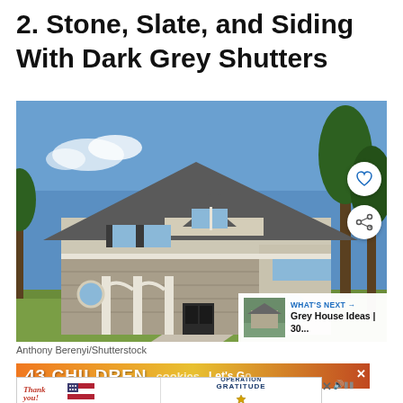2. Stone, Slate, and Siding With Dark Grey Shutters
[Figure (photo): Two-story suburban house with stone and siding exterior, dark grey shutters, grey roof, white trim, arched windows, covered porch, and landscaped front yard on a sunny day.]
Anthony Berenyi/Shutterstock
[Figure (infographic): WHAT'S NEXT arrow label with thumbnail of grey house. Text: Grey House Ideas | 30...]
[Figure (infographic): Advertisement banner: 43 CHILDREN cookies Let's Go]
[Figure (infographic): Advertisement banner: Thank you with American flag design and Operation Gratitude logo]